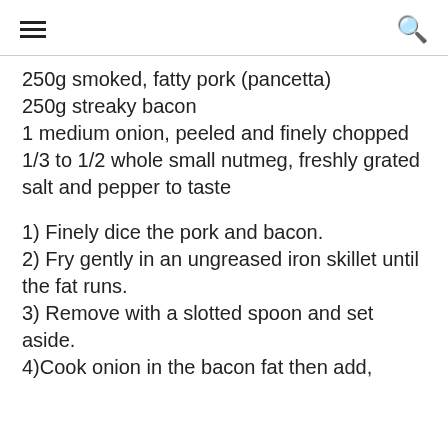☰ 🔍
250g smoked, fatty pork (pancetta)
250g streaky bacon
1 medium onion, peeled and finely chopped
1/3 to 1/2 whole small nutmeg, freshly grated
salt and pepper to taste
1) Finely dice the pork and bacon.
2) Fry gently in an ungreased iron skillet until the fat runs.
3) Remove with a slotted spoon and set aside.
4)Cook onion in the bacon fat then add,